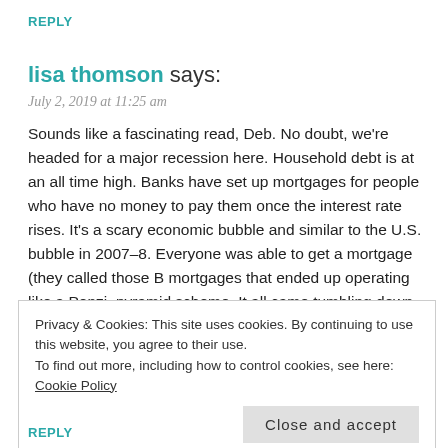REPLY
lisa thomson says:
July 2, 2019 at 11:25 am
Sounds like a fascinating read, Deb. No doubt, we're headed for a major recession here. Household debt is at an all time high. Banks have set up mortgages for people who have no money to pay them once the interest rate rises. It's a scary economic bubble and similar to the U.S. bubble in 2007–8. Everyone was able to get a mortgage (they called those B mortgages that ended up operating like a Ponzi, pyramid scheme. It all came tumbling down. I'll be checking this book out for sure. Never
Privacy & Cookies: This site uses cookies. By continuing to use this website, you agree to their use.
To find out more, including how to control cookies, see here: Cookie Policy
Close and accept
REPLY